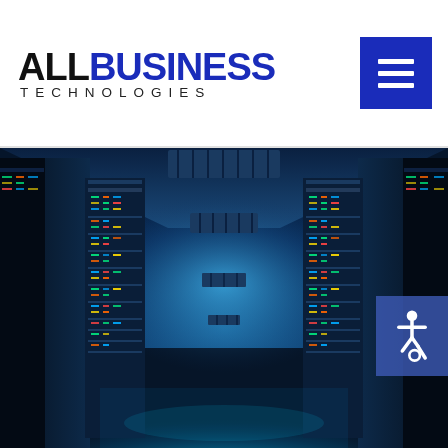ALL BUSINESS TECHNOLOGIES
[Figure (screenshot): Website header showing AllBusiness Technologies logo on white background with navy blue hamburger menu button in top right corner.]
[Figure (photo): Data center server room corridor with rows of tall server racks illuminated in blue light, symmetrically arranged with ceiling HVAC vents, shot from a central perspective giving a vanishing point effect. An accessibility wheelchair icon button appears in the upper right corner.]